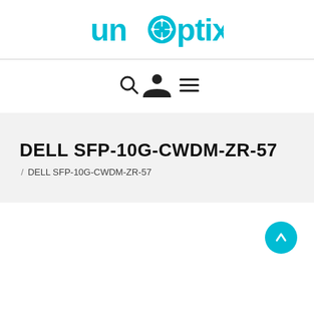[Figure (logo): unoptix logo in teal/cyan color with circuit-board icon replacing the letter 'o']
[Figure (infographic): Navigation icons: search (magnifying glass), user/account (person silhouette), and hamburger menu (three lines)]
DELL SFP-10G-CWDM-ZR-57
/ DELL SFP-10G-CWDM-ZR-57
[Figure (other): Teal circular scroll-to-top button with upward arrow icon]